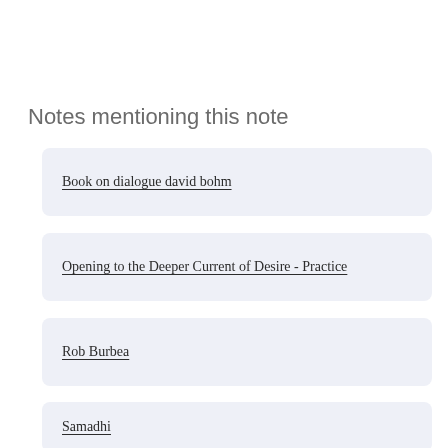Notes mentioning this note
Book on dialogue david bohm
Opening to the Deeper Current of Desire - Practice
Rob Burbea
Samadhi